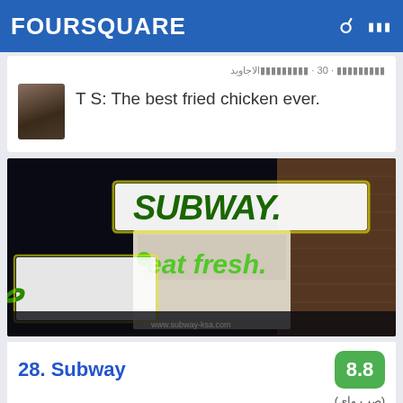FOURSQUARE
· 30 · الاجاويد
T S: The best fried chicken ever.
[Figure (photo): Nighttime photo of a Subway restaurant exterior showing illuminated SUBWAY and 'eat fresh.' signs, with Arabic text visible on the storefront.]
28. Subway
8.8
(صب واى)
(حي الواحة - أفنت مول (طريق مكة السريع, ███,
منطقة مكة
جنوب · 17 · ████████